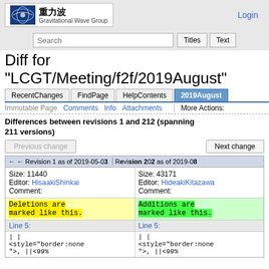重力波 Gravitational Wave Group | Login
Diff for "LCGT/Meeting/f2f/2019August"
Differences between revisions 1 and 212 (spanning 211 versions)
| ← Revision 1 as of 2019-05-03... | Revision 212 as of 2019-08... |
| --- | --- |
| Size: 11440
Editor: HisaakiShinkai
Comment: | Size: 43171
Editor: HideakiKitazawa
Comment: |
| Deletions are marked like this. | Additions are marked like this. |
| Line 5: | Line 5: |
| | |
<style="border:none
">, ||<99% | | |
<style="border:none
">, ||<99% |